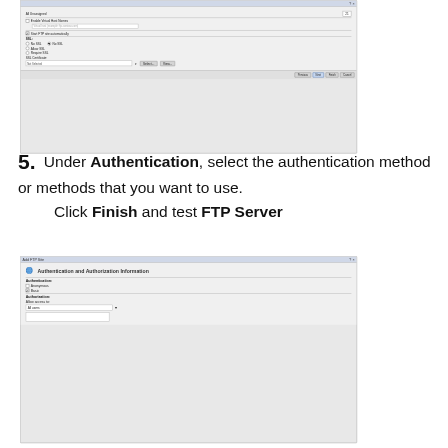[Figure (screenshot): Dialog box showing FTP site SSL settings with options: No SSL (selected), Allow SSL, Require SSL, and SSL Certificate field with Previous, Next, Finish, Cancel buttons]
5. Under Authentication, select the authentication method or methods that you want to use.
    Click Finish and test FTP Server
[Figure (screenshot): Dialog box titled 'Add FTP Site' showing Authentication and Authorization Information with checkboxes for Anonymous and Basic authentication, and Allow access to: All users dropdown]